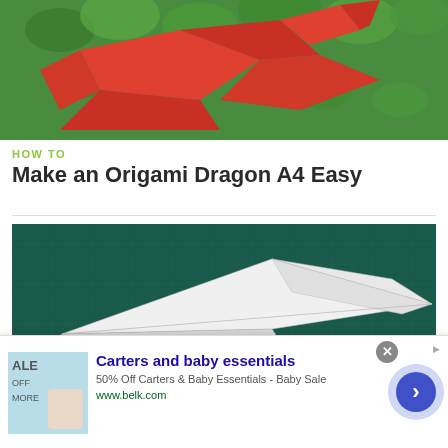[Figure (photo): Red origami dragon on green leafy background]
HOW TO
Make an Origami Dragon A4 Easy
[Figure (photo): Hand holding a white paper airplane on dark green cutting mat background]
HOW TO
[Figure (infographic): Advertisement banner: Carters and baby essentials - 50% Off Carters & Baby Essentials - Baby Sale - www.belk.com]